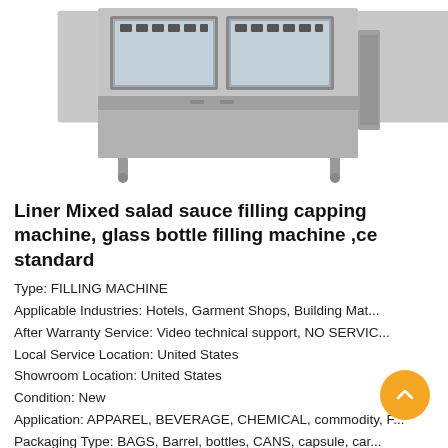[Figure (photo): Industrial filling and capping machine with grey metal casing, double-panel front with transparent windows showing internal components, on adjustable legs]
Liner Mixed salad sauce filling capping machine, glass bottle filling machine ,ce standard
Type: FILLING MACHINE
Applicable Industries: Hotels, Garment Shops, Building Mat...
After Warranty Service: Video technical support, NO SERVIC...
Local Service Location: United States
Showroom Location: United States
Condition: New
Application: APPAREL, BEVERAGE, CHEMICAL, commodity, F...
Packaging Type: BAGS, Barrel, bottles, CANS, capsule, car...
Packaging Material: glass, Metal, PAPER, plastic, wood
Automatic Grade: Automatic